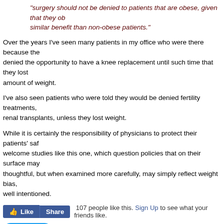"surgery should not be denied to patients that are obese, given that they obtain similar benefit than non-obese patients."
Over the years I've seen many patients in my office who were there because they were denied the opportunity to have a knee replacement until such time that they lost a certain amount of weight.
I've also seen patients who were told they would be denied fertility treatments, renal transplants, unless they lost weight.
While it is certainly the responsibility of physicians to protect their patients' safety, I welcome studies like this one, which question policies that on their surface may seem thoughtful, but when examined more carefully, may simply reflect weight bias, however well intentioned.
[Figure (other): Facebook Like and Share buttons with '107 people like this. Sign Up to see what your friends like.' text]
[Figure (other): Twitter Tweet button]
Posted by Yoni Freedhoff, MD at 5:30 am
Labels: Bias, Surgery